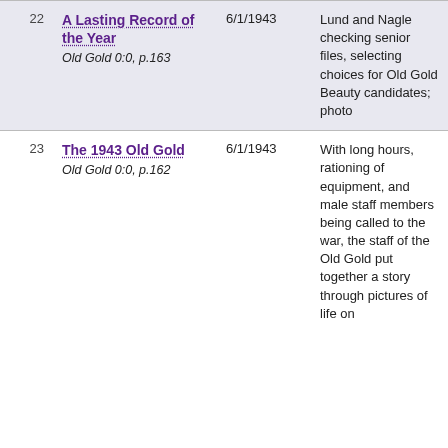| # | Title / Source | Date | Description |
| --- | --- | --- | --- |
| 22 | A Lasting Record of the Year
Old Gold 0:0, p.163 | 6/1/1943 | Lund and Nagle checking senior files, selecting choices for Old Gold Beauty candidates; photo |
| 23 | The 1943 Old Gold
Old Gold 0:0, p.162 | 6/1/1943 | With long hours, rationing of equipment, and male staff members being called to the war, the staff of the Old Gold put together a story through pictures of life on |